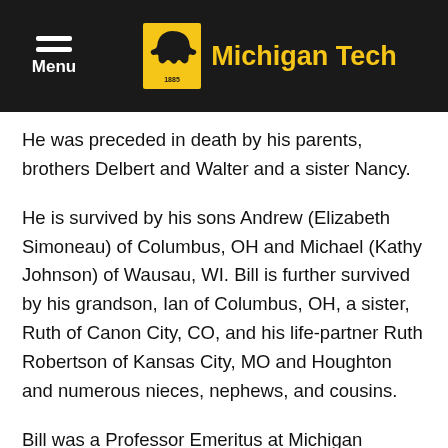Michigan Tech
He was preceded in death by his parents, brothers Delbert and Walter and a sister Nancy.
He is survived by his sons Andrew (Elizabeth Simoneau) of Columbus, OH and Michael (Kathy Johnson) of Wausau, WI. Bill is further survived by his grandson, Ian of Columbus, OH, a sister, Ruth of Canon City, CO, and his life-partner Ruth Robertson of Kansas City, MO and Houghton and numerous nieces, nephews, and cousins.
Bill was a Professor Emeritus at Michigan Technological University, having taught philosophy there from 1972 until 2004. He was active in many community organizations. He served on the Han...